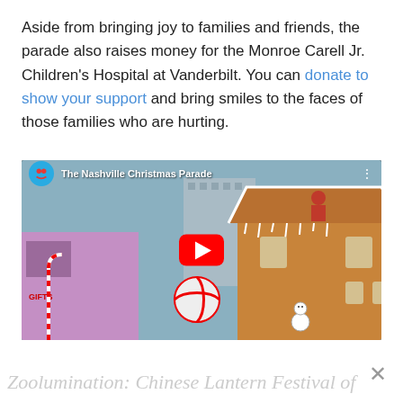Aside from bringing joy to families and friends, the parade also raises money for the Monroe Carell Jr. Children's Hospital at Vanderbilt. You can donate to show your support and bring smiles to the faces of those families who are hurting.
[Figure (screenshot): YouTube video embed thumbnail showing 'The Nashville Christmas Parade' with a gingerbread house and Christmas decorations. A red play button is centered on the thumbnail.]
Zoolumination: Chinese Lantern Festival of